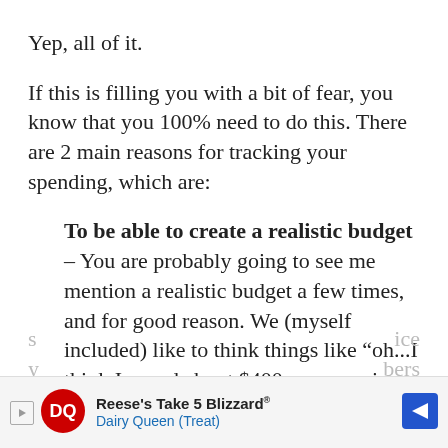Yep, all of it.
If this is filling you with a bit of fear, you know that you 100% need to do this. There are 2 main reasons for tracking your spending, which are:
To be able to create a realistic budget – You are probably going to see me mention a realistic budget a few times, and for good reason. We (myself included) like to think things like “oh...I think I spend about $400 on groceries a month.” And then after we add it all up, it’s actually around $800. This is going to set you up to fail from the
[Figure (other): Advertisement banner for Reese's Take 5 Blizzard by Dairy Queen (Treat) with DQ logo and navigation arrow]